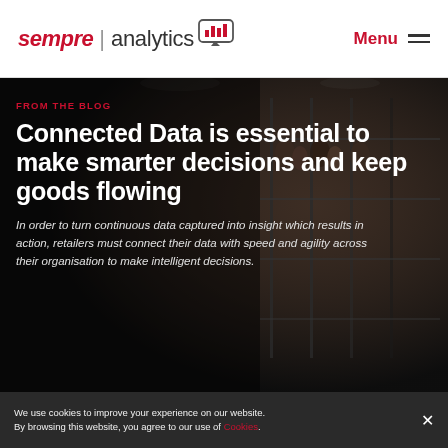[Figure (logo): Sempre Analytics logo with speech bubble icon containing bar chart, red italic 'sempre' text, divider line, and 'analytics' text]
Menu
[Figure (photo): Dark-toned retail store interior background image with blurred clothing racks and display shelving]
FROM THE BLOG
Connected Data is essential to make smarter decisions and keep goods flowing
In order to turn continuous data captured into insight which results in action, retailers must connect their data with speed and agility across their organisation to make intelligent decisions.
We use cookies to improve your experience on our website. By browsing this website, you agree to our use of Cookies.